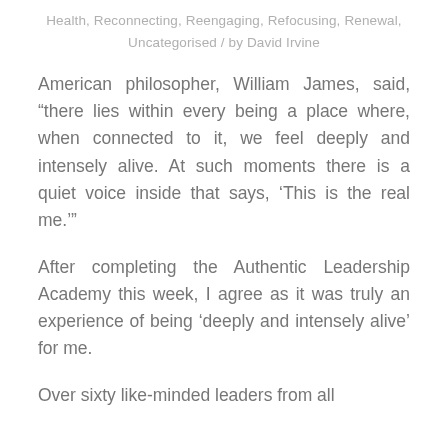Health, Reconnecting, Reengaging, Refocusing, Renewal, Uncategorised / by David Irvine
American philosopher, William James, said, “there lies within every being a place where, when connected to it, we feel deeply and intensely alive. At such moments there is a quiet voice inside that says, ‘This is the real me.’”
After completing the Authentic Leadership Academy this week, I agree as it was truly an experience of being ‘deeply and intensely alive’ for me.
Over sixty like-minded leaders from all